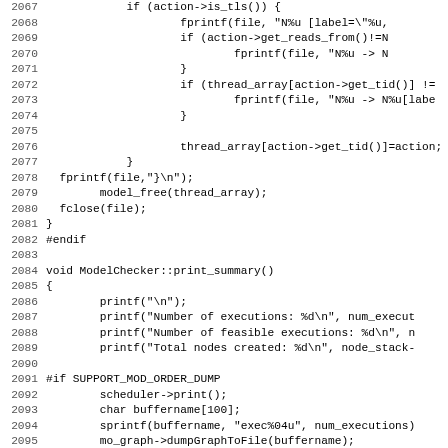[Figure (screenshot): Source code listing showing C++ code for ModelChecker class, lines 2067-2099, including fprintf calls, thread_array operations, print_summary function with printf statements, and #if SUPPORT_MOD_ORDER_DUMP conditional block with scheduler, sprintf, and dumpGraph calls.]